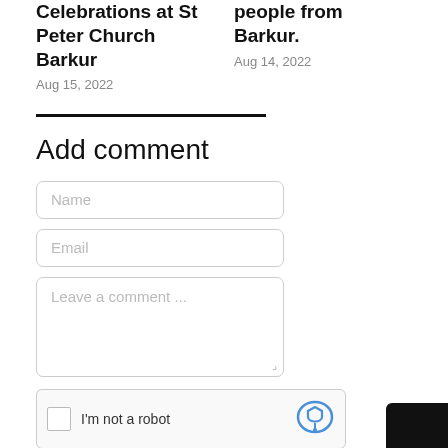Celebrations at St Peter Church Barkur
Aug 15, 2022
people from Barkur.
Aug 14, 2022
Add comment
[Figure (screenshot): Web form with Name input, Email input, Leave a comment textarea, reCAPTCHA checkbox, and a dark submit button]
I'm not a robot